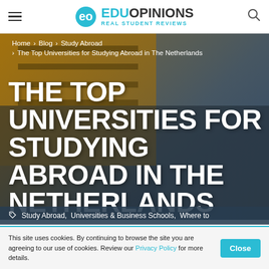EduOpinions — Real Student Reviews
Home > Blog > Study Abroad > The Top Universities for Studying Abroad in The Netherlands
THE TOP UNIVERSITIES FOR STUDYING ABROAD IN THE NETHERLANDS
Study Abroad,  Universities & Business Schools,  Where to
This site uses cookies. By continuing to browse the site you are agreeing to our use of cookies. Review our Privacy Policy for more details.